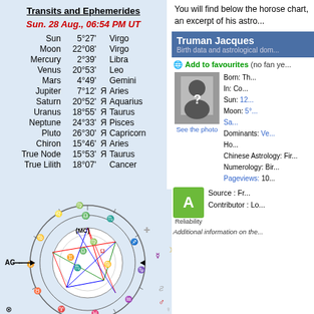Transits and Ephemerides
Sun. 28 Aug., 06:54 PM UT
| Planet | Degree | Retrograde | Sign |
| --- | --- | --- | --- |
| Sun | 5°27' |  | Virgo |
| Moon | 22°08' |  | Virgo |
| Mercury | 2°39' |  | Libra |
| Venus | 20°53' |  | Leo |
| Mars | 4°49' |  | Gemini |
| Jupiter | 7°12' | Я | Aries |
| Saturn | 20°52' | Я | Aquarius |
| Uranus | 18°55' | Я | Taurus |
| Neptune | 24°33' | Я | Pisces |
| Pluto | 26°30' | Я | Capricorn |
| Chiron | 15°46' | Я | Aries |
| True Node | 15°53' | Я | Taurus |
| True Lilith | 18°07' |  | Cancer |
[Figure (other): Astrological natal chart wheel with planetary positions, zodiac signs, and aspect lines in multiple colors]
You will find below the horoscope chart, an excerpt of his astro...
Truman Jacques
Birth data and astrological dom...
Add to favourites (no fan ye...)
Born: Th...
In: Co...
Sun: 12...
Moon: 5°...
Sa...
Dominants: Ve...
Ho...
Chinese Astrology: Fir...
Numerology: Bir...
Pageviews: 10...
Source : Fr...
Contributor : Lo...
Additional information on the...